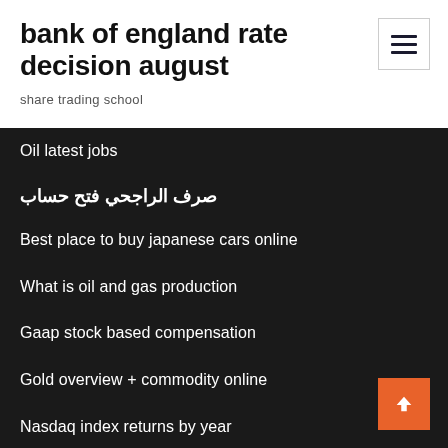bank of england rate decision august
share trading school
Oil latest jobs
صرف الراجحي فتح حساب
Best place to buy japanese cars online
What is oil and gas production
Gaap stock based compensation
Gold overview + commodity online
Nasdaq index returns by year
Determine interest rate on bond
List of proprietary trading firms in london